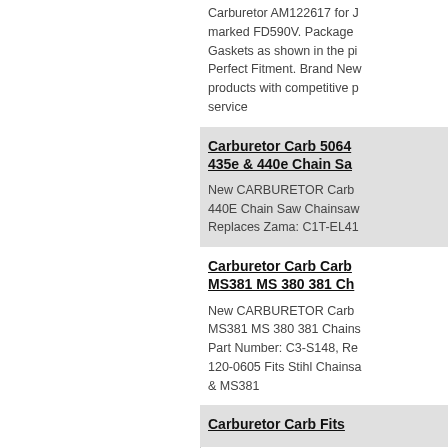Carburetor AM122617 for J... marked FD590V. Package Gaskets as shown in the pi... Perfect Fitment. Brand New products with competitive p... service
Carburetor Carb 5064... 435e & 440e Chain Sa...
New CARBURETOR Carb 440E Chain Saw Chainsaw Replaces Zama: C1T-EL41...
Carburetor Carb Carb... MS381 MS 380 381 Ch...
New CARBURETOR Carb MS381 MS 380 381 Chains... Part Number: C3-S148, Re... 120-0605 Fits Stihl Chainsa... & MS381
Carburetor Carb Fits ...